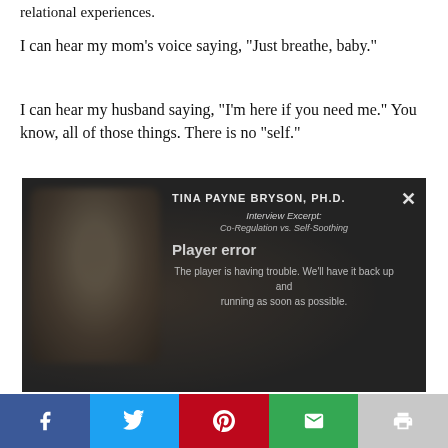relational experiences.
I can hear my mom's voice saying, "Just breathe, baby."
I can hear my husband saying, "I'm here if you need me." You know, all of those things. There is no "self."
[Figure (screenshot): Video player showing Tina Payne Bryson, Ph.D. interview excerpt on Co-Regulation vs. Self-Soothing, with a player error message: 'The player is having trouble. We’ll have it back up and running as soon as possible.' An X close button is visible in the top right.]
[Figure (infographic): Social sharing bar at the bottom with five buttons: Facebook (blue), Twitter (cyan), Pinterest (red), Email (green), Print (grey).]